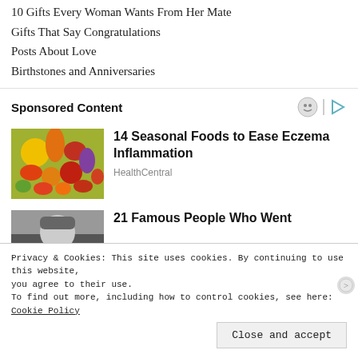10 Gifts Every Woman Wants From Her Mate
Gifts That Say Congratulations
Posts About Love
Birthstones and Anniversaries
Sponsored Content
[Figure (photo): Colorful assortment of fresh fruits and vegetables]
14 Seasonal Foods to Ease Eczema Inflammation
HealthCentral
[Figure (photo): Black and white photo of a man with a cap]
21 Famous People Who Went
Privacy & Cookies: This site uses cookies. By continuing to use this website, you agree to their use.
To find out more, including how to control cookies, see here: Cookie Policy
Close and accept